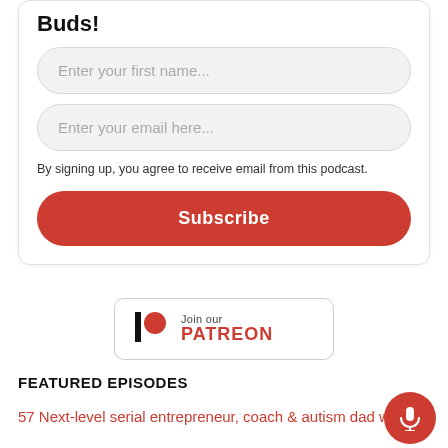Buds!
[Figure (screenshot): Input field placeholder: Enter your first name...]
[Figure (screenshot): Input field placeholder: Enter your email here...]
By signing up, you agree to receive email from this podcast.
[Figure (other): Subscribe button (red rounded rectangle)]
[Figure (logo): Join our PATREON button with Patreon logo]
FEATURED EPISODES
57 Next-level serial entrepreneur, coach & autism dad with